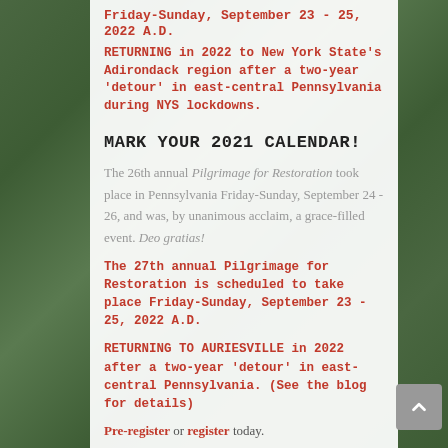Friday-Sunday, September 23 - 25, 2022 A.D.
RETURNING in 2022 to New York State's Adirondack region after a two-year 'detour' in east-central Pennsylvania during NYS lockdowns.
MARK YOUR 2021 CALENDAR!
The 26th annual Pilgrimage for Restoration took place in Pennsylvania Friday-Sunday, September 24 - 26, and was, by unanimous acclaim, a grace-filled event. Deo gratias!
The 27th annual Pilgrimage for Restoration is scheduled to take place Friday-Sunday, September 23 - 25, 2022 A.D.
RETURNING TO AURIESVILLE in 2022 after a two-year 'detour' in east-central Pennsylvania. (See the blog for details)
Pre-register or register today.